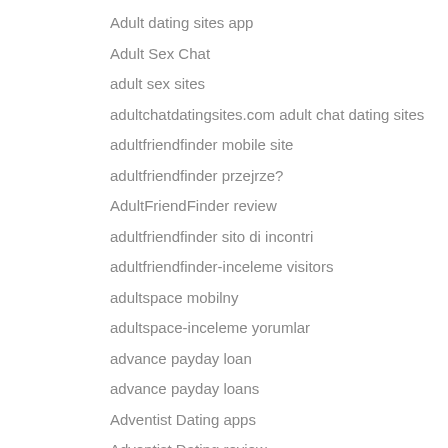Adult dating sites app
Adult Sex Chat
adult sex sites
adultchatdatingsites.com adult chat dating sites
adultfriendfinder mobile site
adultfriendfinder przejrze?
AdultFriendFinder review
adultfriendfinder sito di incontri
adultfriendfinder-inceleme visitors
adultspace mobilny
adultspace-inceleme yorumlar
advance payday loan
advance payday loans
Adventist Dating apps
Adventist Dating review